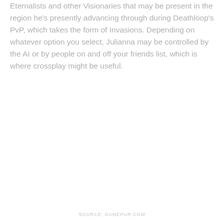Eternalists and other Visionaries that may be present in the region he's presently advancing through during Deathloop's PvP, which takes the form of Invasions. Depending on whatever option you select, Julianna may be controlled by the AI or by people on and off your friends list, which is where crossplay might be useful.
SOURCE: GAMEPUR.COM